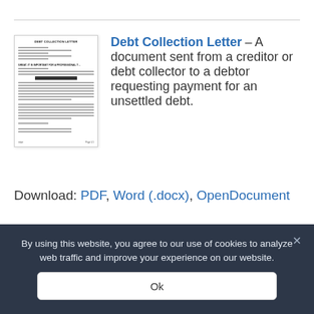[Figure (illustration): Thumbnail preview of a Debt Collection Letter document showing the document title and lines of text]
Debt Collection Letter – A document sent from a creditor or debt collector to a debtor requesting payment for an unsettled debt.
Download: PDF, Word (.docx), OpenDocument
By using this website, you agree to our use of cookies to analyze web traffic and improve your experience on our website.
Ok